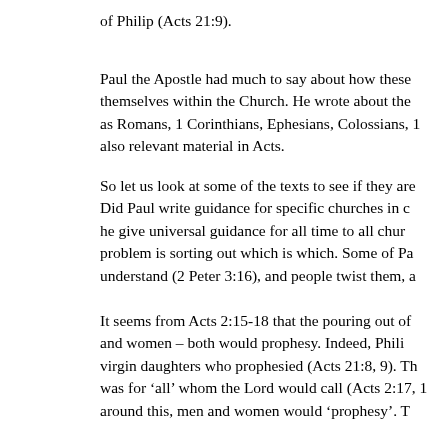of Philip (Acts 21:9).
Paul the Apostle had much to say about how these themselves within the Church. He wrote about the as Romans, 1 Corinthians, Ephesians, Colossians, 1 also relevant material in Acts.
So let us look at some of the texts to see if they are Did Paul write guidance for specific churches in c he give universal guidance for all time to all chur problem is sorting out which is which. Some of Pa understand (2 Peter 3:16), and people twist them, a
It seems from Acts 2:15-18 that the pouring out of and women – both would prophesy. Indeed, Phili virgin daughters who prophesied (Acts 21:8, 9). Th was for 'all' whom the Lord would call (Acts 2:17, 1 around this, men and women would 'prophesy'. T